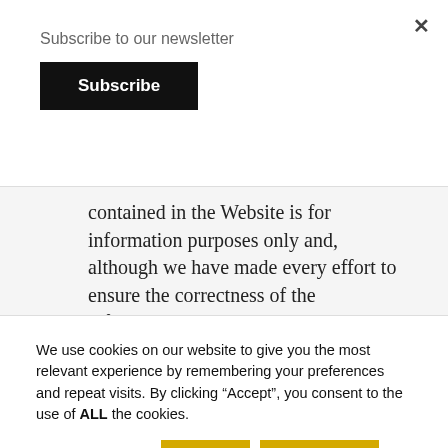Subscribe to our newsletter
Subscribe
contained in the Website is for information purposes only and, although we have made every effort to ensure the correctness of the information contained herein, the information available through the Website is provided “as is” and “as available” and without warranties
We use cookies on our website to give you the most relevant experience by remembering your preferences and repeat visits. By clicking “Accept”, you consent to the use of ALL the cookies.
Cookie settings
Accept
Read More